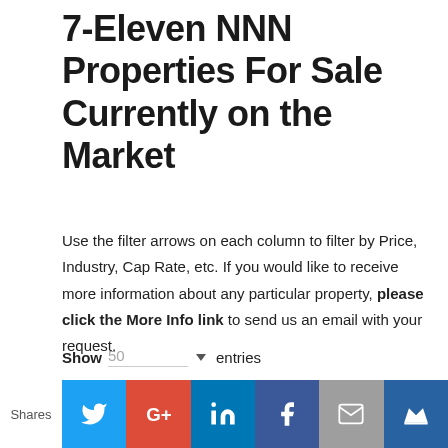7-Eleven NNN Properties For Sale Currently on the Market
Use the filter arrows on each column to filter by Price, Industry, Cap Rate, etc. If you would like to receive more information about any particular property, please click the More Info link to send us an email with your request.
Show 50 entries
Search:
[Figure (infographic): Social sharing bar with Shares label and buttons for Twitter, Google+, LinkedIn, Facebook, Email, and Crown/Monarchy icon]